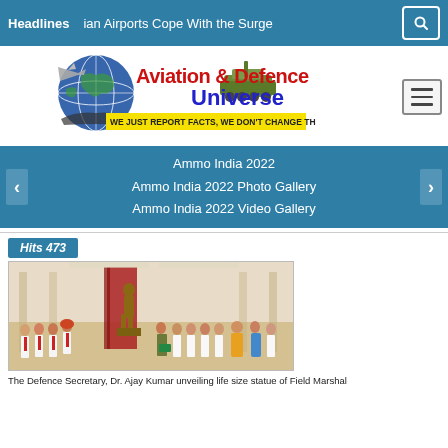Headlines   ian Airports Cope With the Surge
[Figure (logo): Aviation & Defence Universe logo with globe, aircraft, tank, and ships. Tagline: WE JUST REPORT FACTS, WE DON'T CHANGE THEM]
Ammo India 2022
Ammo India 2022 Photo Gallery
Ammo India 2022 Video Gallery
Hits 473
[Figure (photo): Group photo at a ceremony: The Defence Secretary, Dr. Ajay Kumar, unveiling life size statue of Field Marshal]
The Defence Secretary, Dr. Ajay Kumar unveiling life size statue of Field Marshal